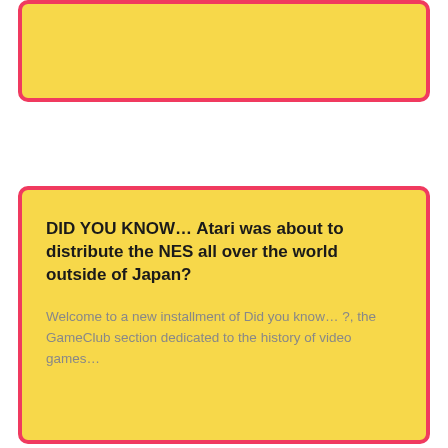[Figure (other): Yellow card with red border, top panel, content area empty]
DID YOU KNOW… Atari was about to distribute the NES all over the world outside of Japan?
Welcome to a new installment of Did you know… ?, the GameClub section dedicated to the history of video games…